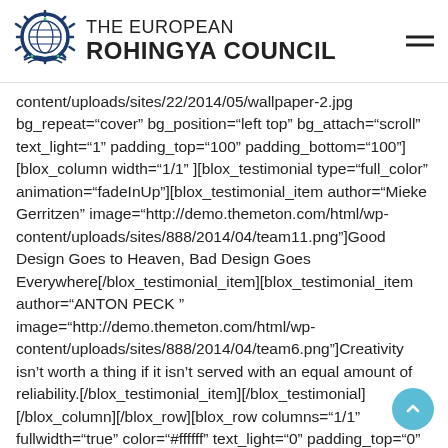THE EUROPEAN ROHINGYA COUNCIL
content/uploads/sites/22/2014/05/wallpaper-2.jpg bg_repeat="cover" bg_position="left top" bg_attach="scroll" text_light="1" padding_top="100" padding_bottom="100"][blox_column width="1/1" ][blox_testimonial type="full_color" animation="fadeInUp"][blox_testimonial_item author="Mieke Gerritzen" image="http://demo.themeton.com/html/wp-content/uploads/sites/888/2014/04/team11.png"]Good Design Goes to Heaven, Bad Design Goes Everywhere[/blox_testimonial_item][blox_testimonial_item author="ANTON PECK " image="http://demo.themeton.com/html/wp-content/uploads/sites/888/2014/04/team6.png"]Creativity isn't worth a thing if it isn't served with an equal amount of reliability.[/blox_testimonial_item][/blox_testimonial][/blox_column][/blox_row][blox_row columns="1/1" fullwidth="true" color="#ffffff" text_light="0" padding_top="0" padding_bottom="0"][blox_column width="1/1" ][blox_divider